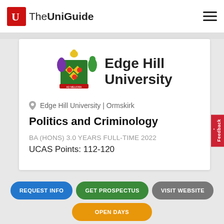TheUniGuide
[Figure (logo): Edge Hill University coat of arms and university name logo]
Edge Hill University | Ormskirk
Politics and Criminology
BA (HONS) 3.0 YEARS FULL-TIME 2022
UCAS Points: 112-120
REQUEST INFO
GET PROSPECTUS
VISIT WEBSITE
OPEN DAYS